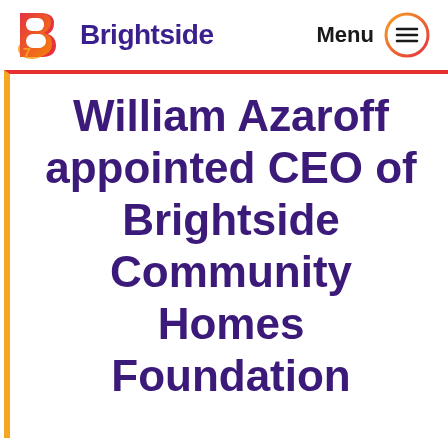Brightside | Menu
William Azaroff appointed CEO of Brightside Community Homes Foundation